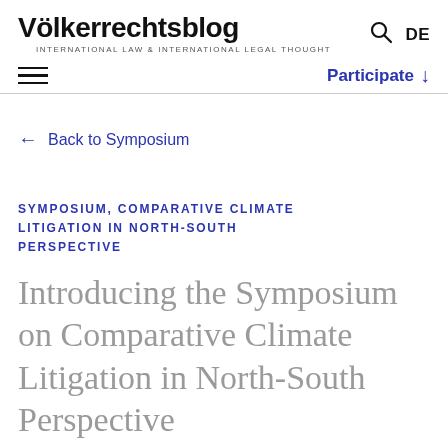Völkerrechtsblog INTERNATIONAL LAW & INTERNATIONAL LEGAL THOUGHT
Participate ↓
← Back to Symposium
SYMPOSIUM, COMPARATIVE CLIMATE LITIGATION IN NORTH-SOUTH PERSPECTIVE
Introducing the Symposium on Comparative Climate Litigation in North-South Perspective